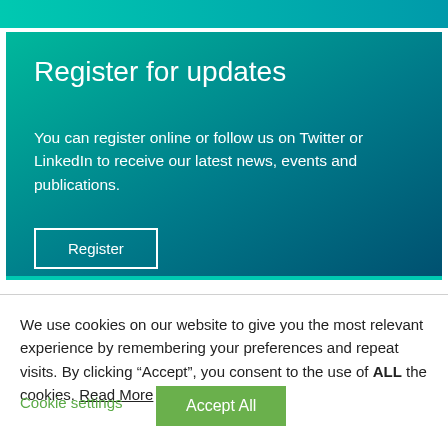[Figure (other): Teal/green gradient decorative top bar]
Register for updates
You can register online or follow us on Twitter or LinkedIn to receive our latest news, events and publications.
Register
We use cookies on our website to give you the most relevant experience by remembering your preferences and repeat visits. By clicking “Accept”, you consent to the use of ALL the cookies. Read More
Cookie settings
Accept All